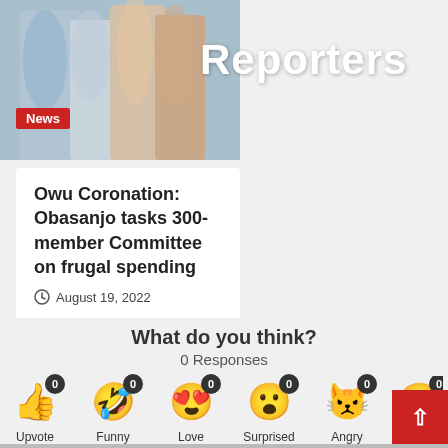[Figure (photo): People in light colored clothing, partially visible, with a 'News' badge overlay in red at bottom left]
Reporters
Owu Coronation: Obasanjo tasks 300-member Committee on frugal spending
August 19, 2022
What do you think?
0 Responses
Upvote 0
Funny 0
Love 0
Surprised 0
Angry 0